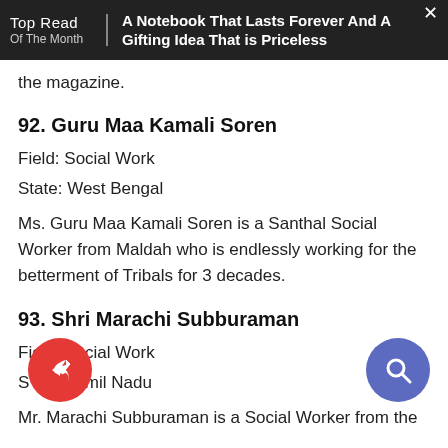Top Read Of The Month | A Notebook That Lasts Forever And A Gifting Idea That is Priceless
the magazine.
92. Guru Maa Kamali Soren
Field: Social Work
State: West Bengal
Ms. Guru Maa Kamali Soren is a Santhal Social Worker from Maldah who is endlessly working for the betterment of Tribals for 3 decades.
93. Shri Marachi Subburaman
Field: Social Work
State: Tamil Nadu
Mr. Marachi Subburaman is a Social Worker from the